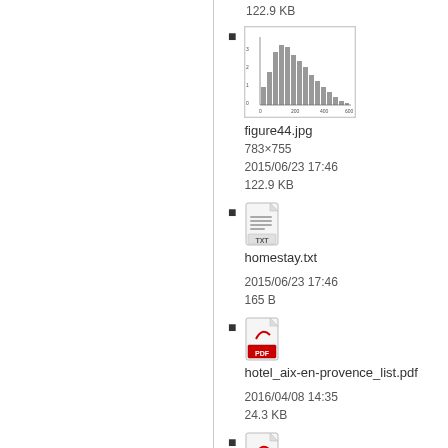[Figure (histogram): Thumbnail histogram chart for figure44.jpg]
figure44.jpg
783×755
2015/06/23 17:46
122.9 KB
homestay.txt
2015/06/23 17:46
165 B
hotel_aix-en-provence_list.pdf
2016/04/08 14:35
24.3 KB
hotel_around_montperrin_list.pdf